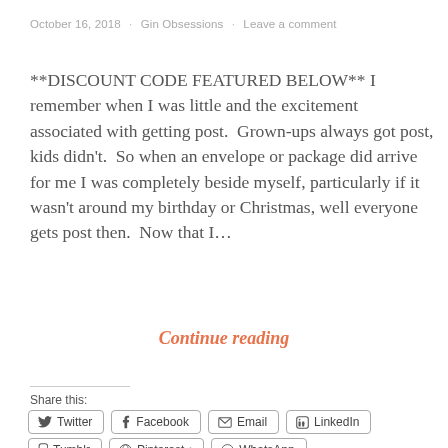October 16, 2018 · Gin Obsessions · Leave a comment
**DISCOUNT CODE FEATURED BELOW** I remember when I was little and the excitement associated with getting post.  Grown-ups always got post, kids didn't.  So when an envelope or package did arrive for me I was completely beside myself, particularly if it wasn't around my birthday or Christmas, well everyone gets post then.  Now that I…
Continue reading
Share this:
Twitter
Facebook
Email
LinkedIn
Tumblr
Pinterest
WhatsApp